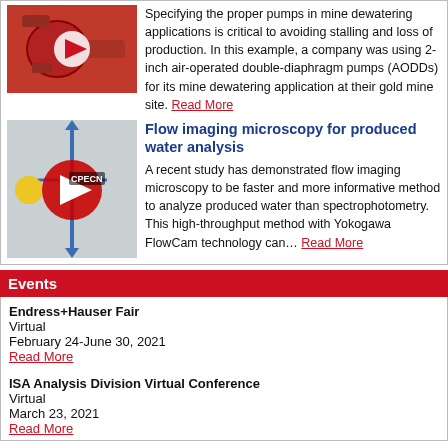[Figure (photo): Red mine dewatering pump photo with YouTube play button overlay]
Specifying the proper pumps in mine dewatering applications is critical to avoiding stalling and loss of production. In this example, a company was using 2-inch air-operated double-diaphragm pumps (AODDs) for its mine dewatering application at their gold mine site. Read More
[Figure (photo): Flow imaging microscopy diagram with YouTube play button and CPECN label overlay]
Flow imaging microscopy for produced water analysis
A recent study has demonstrated flow imaging microscopy to be faster and more informative method to analyze produced water than spectrophotometry. This high-throughput method with Yokogawa FlowCam technology can… Read More
Events
Endress+Hauser Fair
Virtual
February 24-June 30, 2021
Read More
ISA Analysis Division Virtual Conference
Virtual
March 23, 2021
Read More